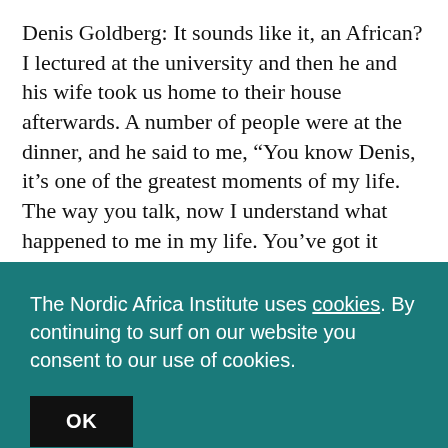Denis Goldberg: It sounds like it, an African? I lectured at the university and then he and his wife took us home to their house afterwards. A number of people were at the dinner, and he said to me, “You know Denis, it's one of the greatest moments of my life. The way you talk, now I understand what happened to me in my life. You've got it exactly.”
Madi Gray: That is fantastic.
Denis Goldberg: It was so moving felt he had...
The Nordic Africa Institute uses cookies. By continuing to surf on our website you consent to our use of cookies.
OK